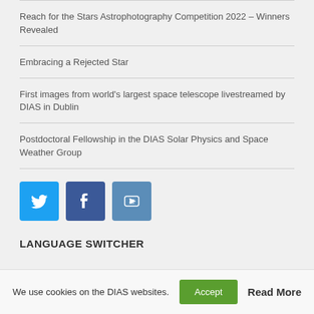Reach for the Stars Astrophotography Competition 2022 – Winners Revealed
Embracing a Rejected Star
First images from world's largest space telescope livestreamed by DIAS in Dublin
Postdoctoral Fellowship in the DIAS Solar Physics and Space Weather Group
[Figure (logo): Three social media icon buttons: Twitter (blue bird icon), Facebook (blue f icon), YouTube (blue play icon)]
LANGUAGE SWITCHER
We use cookies on the DIAS websites.  Accept  Read More